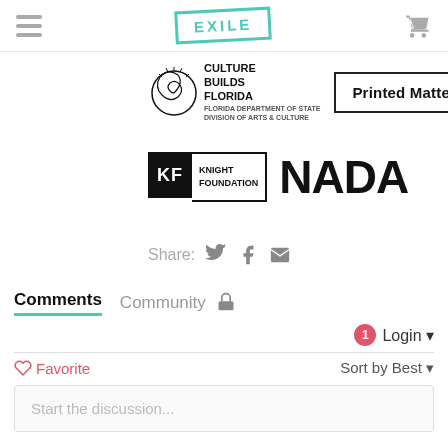EXILE
[Figure (logo): Culture Builds Florida logo - spiral shell graphic with text CULTURE BUILDS FLORIDA, Florida Department of State Division of Arts & Culture]
[Figure (logo): Printed Matter, Inc. logo in a rectangular border]
[Figure (logo): Knight Foundation logo - KF in black square with KNIGHT FOUNDATION text]
[Figure (logo): NADA logo in large bold text]
Share:
Comments   Community
1  Login
Favorite   Sort by Best
Start the discussion...